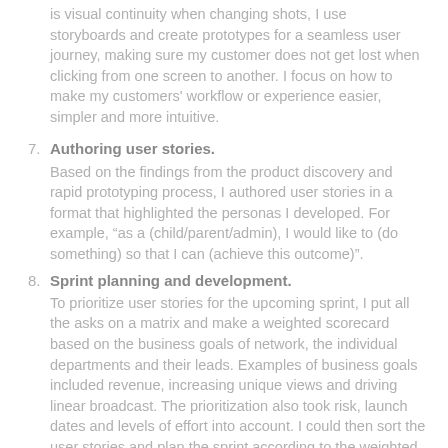is visual continuity when changing shots, I use storyboards and create prototypes for a seamless user journey, making sure my customer does not get lost when clicking from one screen to another. I focus on how to make my customers' workflow or experience easier, simpler and more intuitive.
7. Authoring user stories. Based on the findings from the product discovery and rapid prototyping process, I authored user stories in a format that highlighted the personas I developed. For example, “as a (child/parent/admin), I would like to (do something) so that I can (achieve this outcome)”.
8. Sprint planning and development. To prioritize user stories for the upcoming sprint, I put all the asks on a matrix and make a weighted scorecard based on the business goals of network, the individual departments and their leads. Examples of business goals included revenue, increasing unique views and driving linear broadcast. The prioritization also took risk, launch dates and levels of effort into account. I could then sort the user stories and plan the sprint according to the weighted scorecard.
Examples